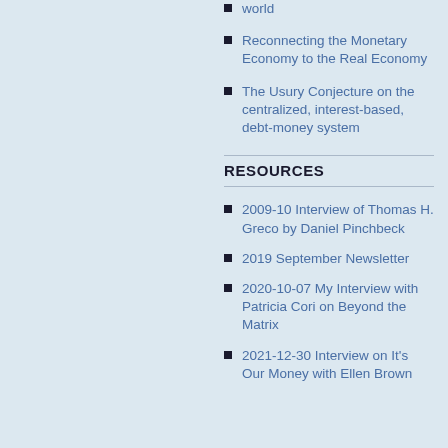world
Reconnecting the Monetary Economy to the Real Economy
The Usury Conjecture on the centralized, interest-based, debt-money system
RESOURCES
2009-10 Interview of Thomas H. Greco by Daniel Pinchbeck
2019 September Newsletter
2020-10-07 My Interview with Patricia Cori on Beyond the Matrix
2021-12-30 Interview on It's Our Money with Ellen Brown